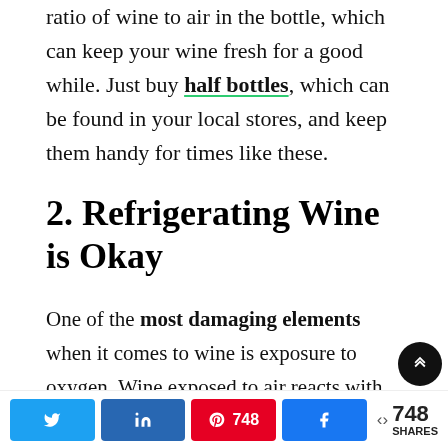ratio of wine to air in the bottle, which can keep your wine fresh for a good while. Just buy half bottles, which can be found in your local stores, and keep them handy for times like these.
2. Refrigerating Wine is Okay
One of the most damaging elements when it comes to wine is exposure to oxygen. Wine exposed to air reacts with oxygen and this changes its composition over time. A little bit of air when the bottle is opened can be a good thing, but this is only to release the aromas that may have been stifled by the airtight storage metho...